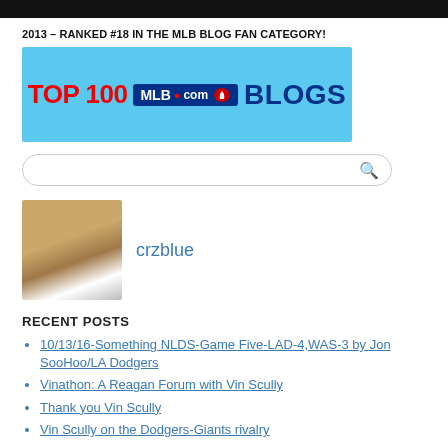2013 – RANKED #18 IN THE MLB BLOG FAN CATEGORY!
[Figure (logo): Top 100 MLB.com Blogs banner with blue background, red 'TOP 100' text, blue MLB.com logo, and blue 'BLOGS' text]
[Figure (other): Search bar with rounded rectangle border and magnifying glass icon]
[Figure (photo): Profile photo of two people, followed by username 'crzblue' in blue text]
RECENT POSTS
10/13/16-Something NLDS-Game Five-LAD-4,WAS-3 by Jon SooHoo/LA Dodgers
Vinathon: A Reagan Forum with Vin Scully
Thank you Vin Scully
Vin Scully on the Dodgers-Giants rivalry
Vote for MLB's Dodger Fan of the Year